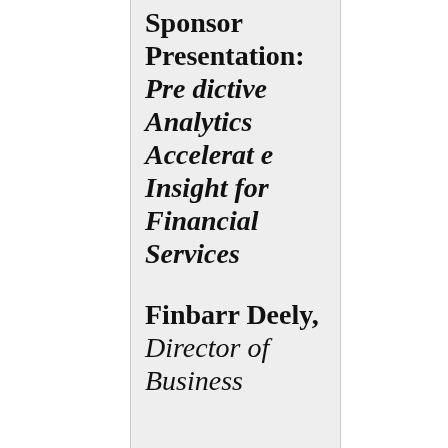| Sponsor Presentation: Predictive Analytics Accelerate Insight for Financial Services | Finbarr Deely, Director of Business |